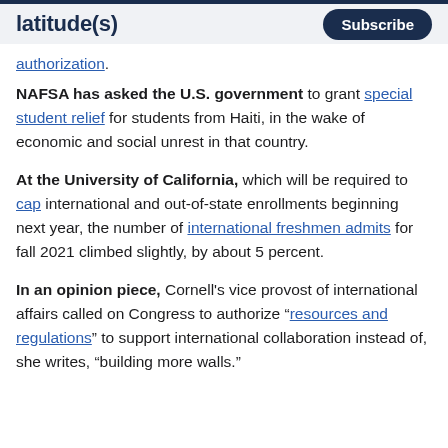latitude(s)  Subscribe
authorization.
NAFSA has asked the U.S. government to grant special student relief for students from Haiti, in the wake of economic and social unrest in that country.
At the University of California, which will be required to cap international and out-of-state enrollments beginning next year, the number of international freshmen admits for fall 2021 climbed slightly, by about 5 percent.
In an opinion piece, Cornell's vice provost of international affairs called on Congress to authorize “resources and regulations” to support international collaboration instead of, she writes, “building more walls.”